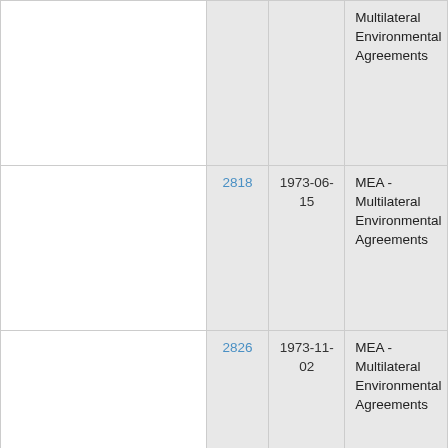|  |  | Date | Type |
| --- | --- | --- | --- |
|  |  |  | Multilateral Environmental Agreements |
|  | 2818 | 1973-06-15 | MEA - Multilateral Environmental Agreements |
|  | 2826 | 1973-11-02 | MEA - Multilateral Environmental Agreements |
|  | 4293 | 1973-11-02 | MEA - |